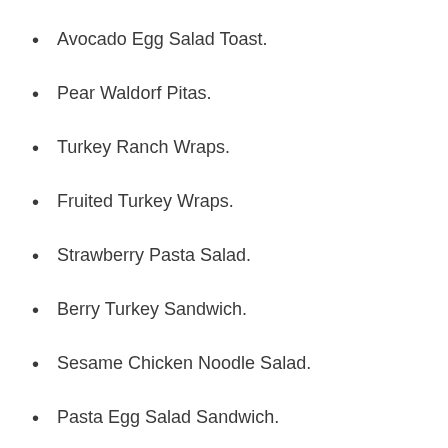Avocado Egg Salad Toast.
Pear Waldorf Pitas.
Turkey Ranch Wraps.
Fruited Turkey Wraps.
Strawberry Pasta Salad.
Berry Turkey Sandwich.
Sesame Chicken Noodle Salad.
Pasta Egg Salad Sandwich.